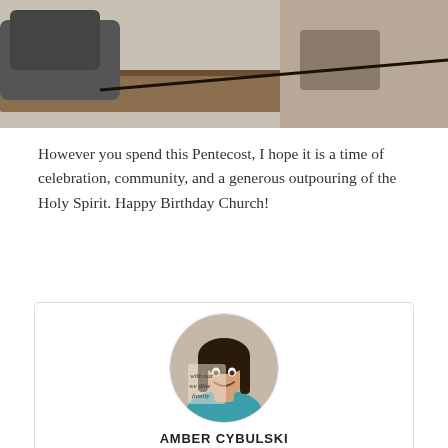[Figure (photo): Partial photo at top of page showing people sitting near a table, cropped at the bottom]
However you spend this Pentecost, I hope it is a time of celebration, community, and a generous outpouring of the Holy Spirit. Happy Birthday Church!
[Figure (photo): Circular portrait photo of Amber Cybulski, a woman with dark hair, smiling, wearing a teal shirt]
AMBER CYBULSKI
After serving as a FOCUS missionary for one year at Carnegie Mellon University and 5 years at Towson